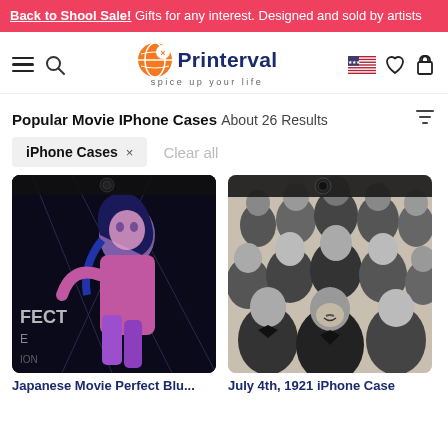Back to Shool Sale! Gifts for any interest. Designed and sold by artists
[Figure (logo): Printerval logo with orange globe icon and tagline 'spice up your life']
Popular Movie IPhone Cases About 26 Results
iPhone Cases × Clear all
[Figure (photo): iPhone case with Japanese anime art (Perfect Blue) - purple/blue illustrated female figure on dark background]
[Figure (photo): iPhone case with black and white vintage 1921 party crowd photo]
Japanese Movie Perfect Blu...
July 4th, 1921 iPhone Case